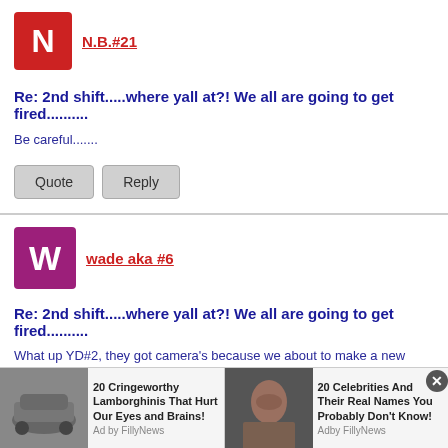[Figure (illustration): Red square avatar with letter N]
N.B.#21
Re: 2nd shift.....where yall at?! We all are going to get fired..........
Be careful.......
Quote
Reply
[Figure (illustration): Purple square avatar with letter W]
wade aka #6
Re: 2nd shift.....where yall at?! We all are going to get fired..........
What up YD#2, they got camera's because we about to make a new Luke Video! We got Miss Shiny baby butt, We got Lil Creole Doll, We got double chocolate butt aka Luke
[Figure (photo): Advertisement: 20 Cringeworthy Lamborghinis That Hurt Our Eyes and Brains! Ad by FillyNews]
[Figure (photo): Advertisement: 20 Celebrities And Their Real Names You Probably Don't Know! Adby FillyNews]